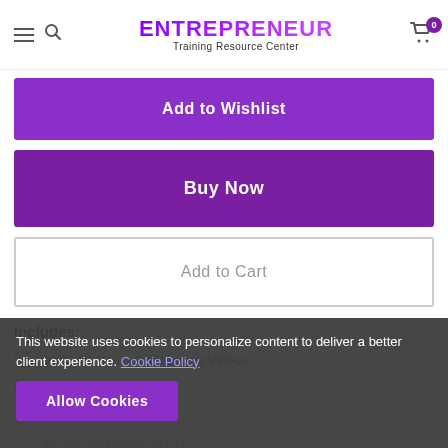ENTREPRENEUR Training Resource Center
Add to Wishlist
Buy Now
Add to Cart
Includes:
00:00:00 Hours On Demand Videos
1 Lessons
Full Lifetime Access
Access on Mobile and TV
This website uses cookies to personalize content to deliver a better client experience. Cookie Policy
Allow Cookies